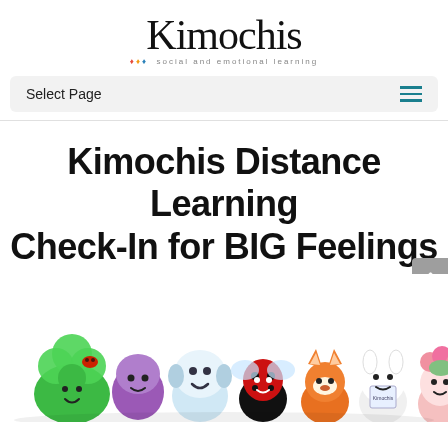[Figure (logo): Kimochis logo with stylized serif text and tagline 'social and emotional learning' with colorful dots]
Select Page
Kimochis Distance Learning Check-In for BIG Feelings
[Figure (photo): Group of Kimochis plush toy characters including a green four-leaf clover, purple creature, blue robot-like figure, ladybug, fox, white seal/bunny, and pink flower character arranged together]